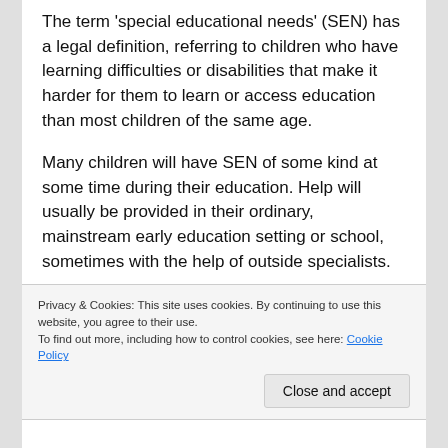The term 'special educational needs' (SEN) has a legal definition, referring to children who have learning difficulties or disabilities that make it harder for them to learn or access education than most children of the same age.
Many children will have SEN of some kind at some time during their education. Help will usually be provided in their ordinary, mainstream early education setting or school, sometimes with the help of outside specialists.
If you have special educational needs, you may need extra help in a range of areas, for example:
Privacy & Cookies: This site uses cookies. By continuing to use this website, you agree to their use.
To find out more, including how to control cookies, see here: Cookie Policy
Close and accept